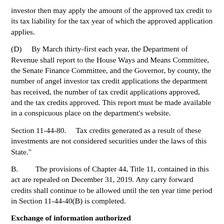investor then may apply the amount of the approved tax credit to its tax liability for the tax year of which the approved application applies.
(D)    By March thirty-first each year, the Department of Revenue shall report to the House Ways and Means Committee, the Senate Finance Committee, and the Governor, by county, the number of angel investor tax credit applications the department has received, the number of tax credit applications approved, and the tax credits approved. This report must be made available in a conspicuous place on the department's website.
Section 11-44-80.    Tax credits generated as a result of these investments are not considered securities under the laws of this State."
B.        The provisions of Chapter 44, Title 11, contained in this act are repealed on December 31, 2019. Any carry forward credits shall continue to be allowed until the ten year time period in Section 11-44-40(B) is completed.
Exchange of information authorized
SECTION    2.    Section 12-54-240(B) of the 1976 Code, as last amended by Act 116 of 2007, is further amended by adding an